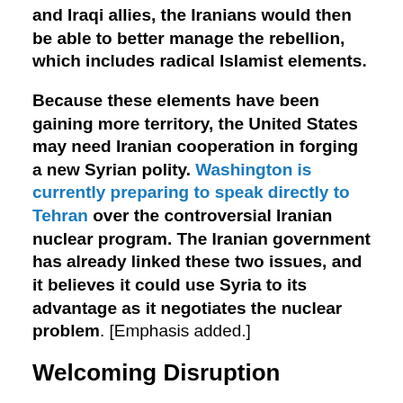and Iraqi allies, the Iranians would then be able to better manage the rebellion, which includes radical Islamist elements.
Because these elements have been gaining more territory, the United States may need Iranian cooperation in forging a new Syrian polity. Washington is currently preparing to speak directly to Tehran over the controversial Iranian nuclear program. The Iranian government has already linked these two issues, and it believes it could use Syria to its advantage as it negotiates the nuclear problem. [Emphasis added.]
Welcoming Disruption
Iran cannot rule out the possibility that even limited U.S.